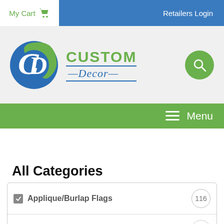My Cart  Retailers Login
[Figure (logo): Custom Decor logo with circular CD emblem in blue and green, and a search button]
Menu
All Categories
Applique/Burlap Flags  116
Cats and Dogs  3
Christmas  22
Easter  2